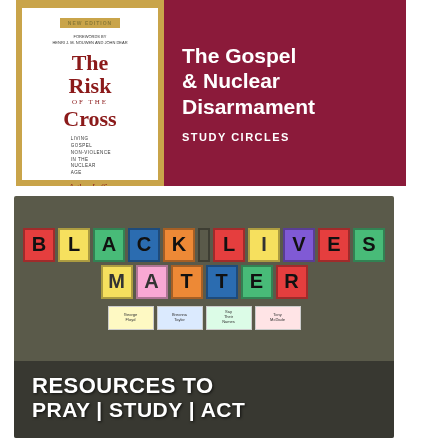[Figure (photo): Book cover for 'The Risk of the Cross: Living Gospel Nonviolence in the Nuclear Age' by Arthur Laffin, with forewords by Henri J.M. Nouwen and John Dear. New Edition banner at top.]
[Figure (photo): Dark red/maroon panel with white bold text reading 'The Gospel & Nuclear Disarmament STUDY CIRCLES']
[Figure (photo): Photo of a Black Lives Matter demonstration sign made of colorful paper squares spelling out 'BLACK LIVES MATTER', with overlay text 'RESOURCES TO PRAY | STUDY | ACT']